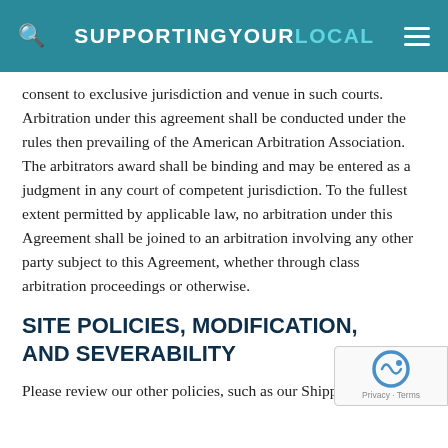SUPPORTING YOUR LOCAL
consent to exclusive jurisdiction and venue in such courts. Arbitration under this agreement shall be conducted under the rules then prevailing of the American Arbitration Association. The arbitrators award shall be binding and may be entered as a judgment in any court of competent jurisdiction. To the fullest extent permitted by applicable law, no arbitration under this Agreement shall be joined to an arbitration involving any other party subject to this Agreement, whether through class arbitration proceedings or otherwise.
SITE POLICIES, MODIFICATION, AND SEVERABILITY
Please review our other policies, such as our Shippi...